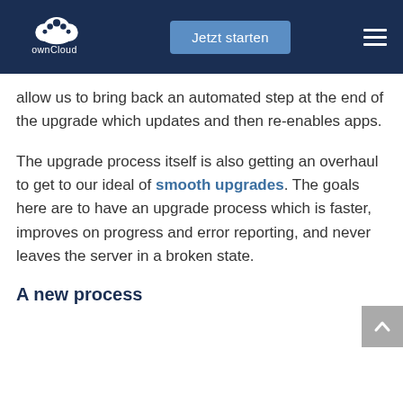ownCloud — Jetzt starten
allow us to bring back an automated step at the end of the upgrade which updates and then re-enables apps.
The upgrade process itself is also getting an overhaul to get to our ideal of smooth upgrades. The goals here are to have an upgrade process which is faster, improves on progress and error reporting, and never leaves the server in a broken state.
A new process